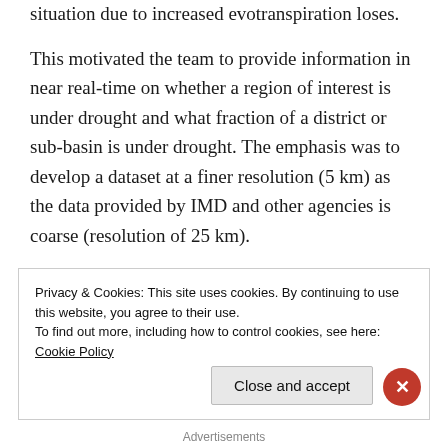situation due to increased evotranspiration loses.
This motivated the team to provide information in near real-time on whether a region of interest is under drought and what fraction of a district or sub-basin is under drought. The emphasis was to develop a dataset at a finer resolution (5 km) as the data provided by IMD and other agencies is coarse (resolution of 25 km).
How the dataset was prepared
Privacy & Cookies: This site uses cookies. By continuing to use this website, you agree to their use.
To find out more, including how to control cookies, see here: Cookie Policy
Close and accept
Advertisements